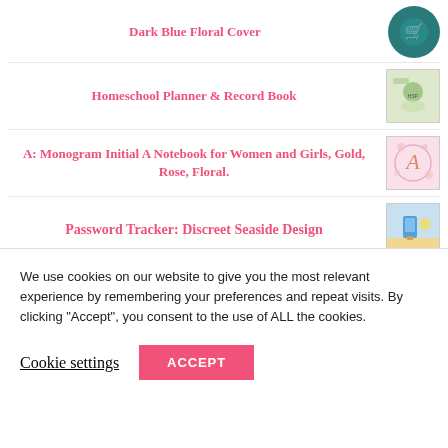Homeschool Planner & Record Book
A: Monogram Initial A Notebook for Women and Girls, Gold, Rose, Floral.
Password Tracker: Discreet Seaside Design
Password Tracker
We use cookies on our website to give you the most relevant experience by remembering your preferences and repeat visits. By clicking “Accept”, you consent to the use of ALL the cookies.
Cookie settings
ACCEPT